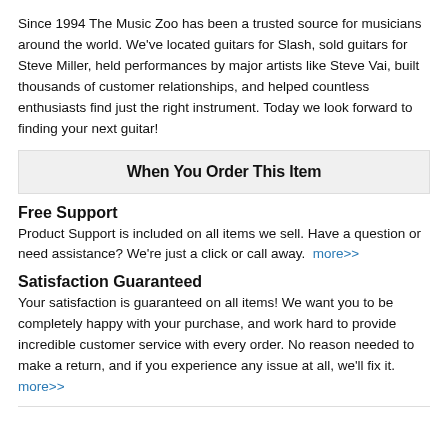Since 1994 The Music Zoo has been a trusted source for musicians around the world. We've located guitars for Slash, sold guitars for Steve Miller, held performances by major artists like Steve Vai, built thousands of customer relationships, and helped countless enthusiasts find just the right instrument. Today we look forward to finding your next guitar!
When You Order This Item
Free Support
Product Support is included on all items we sell. Have a question or need assistance? We're just a click or call away.  more>>
Satisfaction Guaranteed
Your satisfaction is guaranteed on all items! We want you to be completely happy with your purchase, and work hard to provide incredible customer service with every order. No reason needed to make a return, and if you experience any issue at all, we'll fix it.  more>>